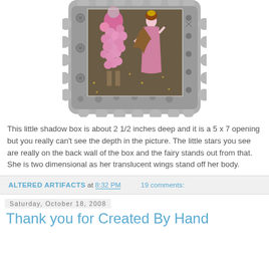[Figure (photo): A decorative shadow box frame with scalloped metallic border containing artwork of a pink floral/bead figure and a woman in pink dress]
This little shadow box is about 2 1/2 inches deep and it is a 5 x 7 opening but you really can't see the depth in the picture. The little stars you see are really on the back wall of the box and the fairy stands out from that. She is two dimensional as her translucent wings stand off her body.
ALTERED ARTIFACTS at 8:32 PM   19 comments:
Saturday, October 18, 2008
Thank you for Created By Hand